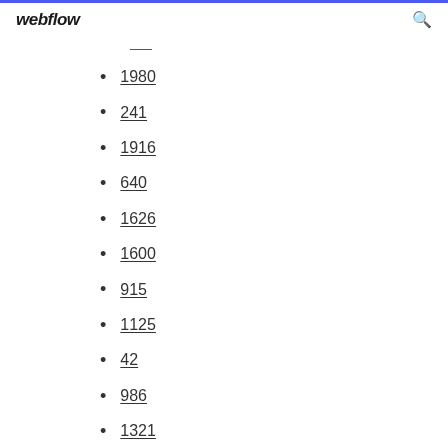webflow
—
1980
241
1916
640
1626
1600
915
1125
42
986
1321
260